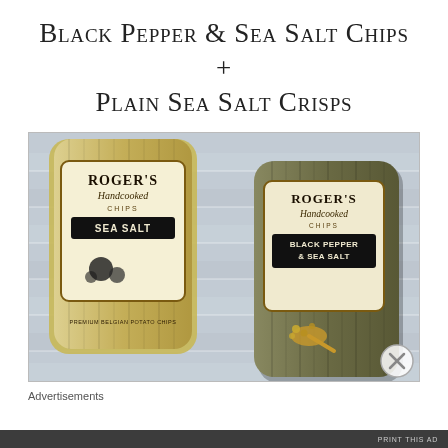Black Pepper & Sea Salt Chips + Plain Sea Salt Crisps
[Figure (photo): Two bags of Roger's Handcooked Chips on a wooden surface. Left bag is tan/gold coloured with 'Sea Salt' flavour. Right bag is dark olive/grey coloured with 'Black Pepper & Sea Salt' flavour.]
Advertisements
PRINT THIS AD